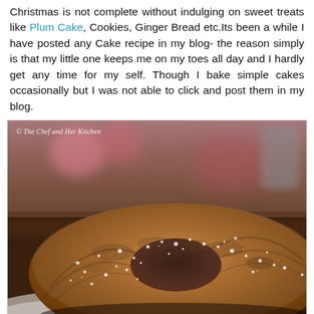Christmas is not complete without indulging on sweet treats like Plum Cake, Cookies, Ginger Bread etc.Its been a while I have posted any Cake recipe in my blog- the reason simply is that my little one keeps me on my toes all day and I hardly get any time for my self. Though I bake simple cakes occasionally but I was not able to click and post them in my blog.
[Figure (photo): Close-up photo of a bundt cake dusted with powdered sugar on a white doily, with pink blurred background objects. Watermark reads '© The Chef and Her Kitchen'.]